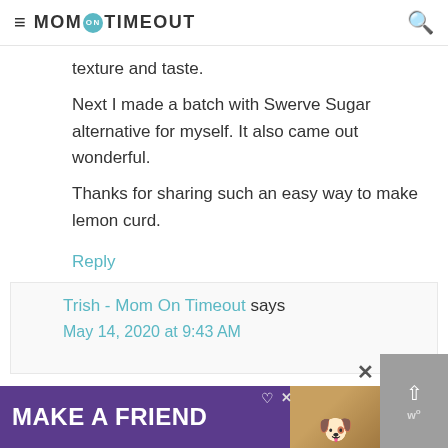≡ MOM ON TIMEOUT 🔍
texture and taste.
Next I made a batch with Swerve Sugar alternative for myself. It also came out wonderful.
Thanks for sharing such an easy way to make lemon curd.
Reply
Trish - Mom On Timeout says
May 14, 2020 at 9:43 AM
[Figure (screenshot): Purple advertisement banner at bottom: 'MAKE A FRIEND' with dog image and heart icons]